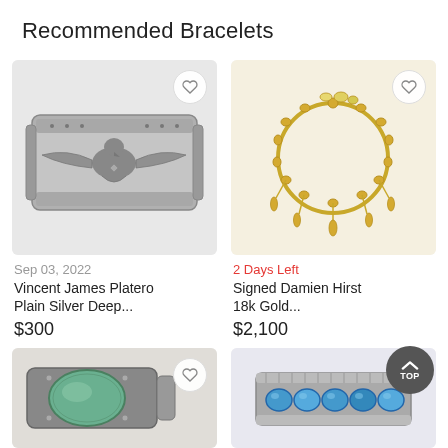Recommended Bracelets
[Figure (photo): Silver cuff bracelet with engraved thunderbird/eagle design, Native American style]
Sep 03, 2022
Vincent James Platero Plain Silver Deep...
$300
[Figure (photo): Gold charm bracelet with dangling teardrop gold charms, Signed Damien Hirst 18k Gold style]
2 Days Left
Signed Damien Hirst 18k Gold...
$2,100
[Figure (photo): Silver cuff bracelet with large green turquoise oval stone]
[Figure (photo): Silver cuff bracelet with blue turquoise stones]